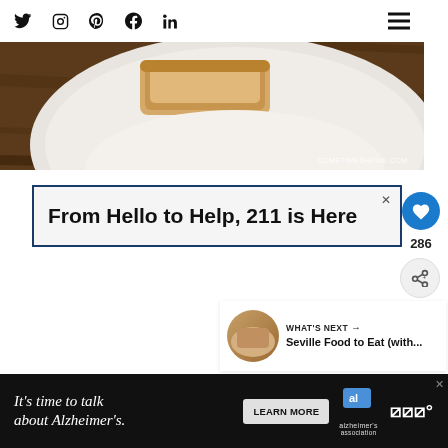Social icons: Twitter, Instagram, Pinterest, Facebook, LinkedIn; hamburger menu
[Figure (photo): Close-up photo of a white plate on a wooden table with bread/food item, watermark SOMETIMESHOME.COM in bottom right]
[Figure (infographic): Advertisement banner: From Hello to Help, 211 is Here]
286
[Figure (infographic): WHAT'S NEXT → Seville Food to Eat (with... thumbnail]
[Figure (infographic): Bottom advertisement: It's time to talk about Alzheimer's. LEARN MORE. Alzheimer's Association logo.]